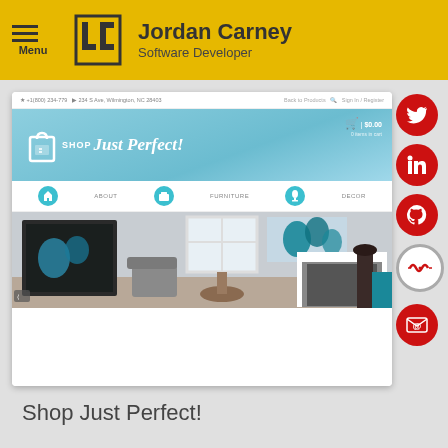Jordan Carney — Software Developer
[Figure (screenshot): Screenshot of a portfolio website showing 'Shop Just Perfect!' e-commerce project with navigation bar, shop banner, room interior photo, and social media buttons (Twitter, LinkedIn, GitHub, freeCodeCamp, Email)]
Shop Just Perfect!